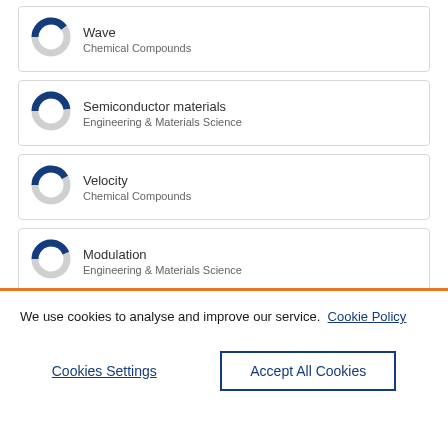[Figure (donut-chart): Donut chart showing percentage for Wave, Chemical Compounds]
Wave
Chemical Compounds
[Figure (donut-chart): Donut chart showing percentage for Semiconductor materials, Engineering & Materials Science]
Semiconductor materials
Engineering & Materials Science
[Figure (donut-chart): Donut chart showing percentage for Velocity, Chemical Compounds]
Velocity
Chemical Compounds
[Figure (donut-chart): Donut chart showing percentage for Modulation, Engineering & Materials Science]
Modulation
Engineering & Materials Science
[Figure (donut-chart): Donut chart showing percentage for Nonlinearity]
Nonlinearity
We use cookies to analyse and improve our service. Cookie Policy
Cookies Settings
Accept All Cookies